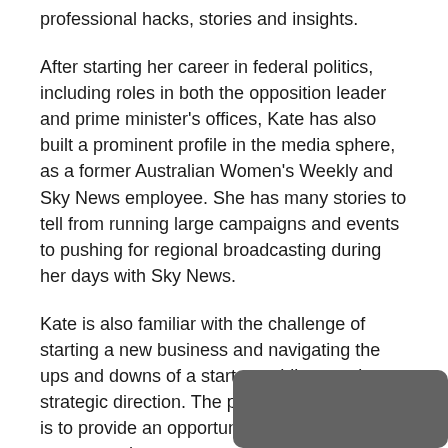professional hacks, stories and insights.
After starting her career in federal politics, including roles in both the opposition leader and prime minister's offices, Kate has also built a prominent profile in the media sphere, as a former Australian Women's Weekly and Sky News employee. She has many stories to tell from running large campaigns and events to pushing for regional broadcasting during her days with Sky News.
Kate is also familiar with the challenge of starting a new business and navigating the ups and downs of a start-up while pursuing a strategic direction. The purpose of the event is to provide an opportunity for attendees to come together as a community and learn from each other's professional experiences.
HealthWISE CEO Fiona Strang says that she is looking forward to exchanging ideas with the many talented and